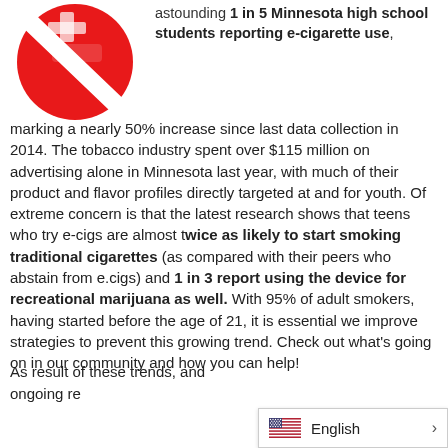[Figure (illustration): Red circle with slash (no-smoking/prohibition sign) with a cigarette/e-cigarette icon inside, partially visible at top left]
astounding 1 in 5 Minnesota high school students reporting e-cigarette use, marking a nearly 50% increase since last data collection in 2014. The tobacco industry spent over $115 million on advertising alone in Minnesota last year, with much of their product and flavor profiles directly targeted at and for youth. Of extreme concern is that the latest research shows that teens who try e-cigs are almost twice as likely to start smoking traditional cigarettes (as compared with their peers who abstain from e.cigs) and 1 in 3 report using the device for recreational marijuana as well. With 95% of adult smokers, having started before the age of 21, it is essential we improve strategies to prevent this growing trend. Check out what's going on in our community and how you can help!
As result of these trends, and ongoing re...